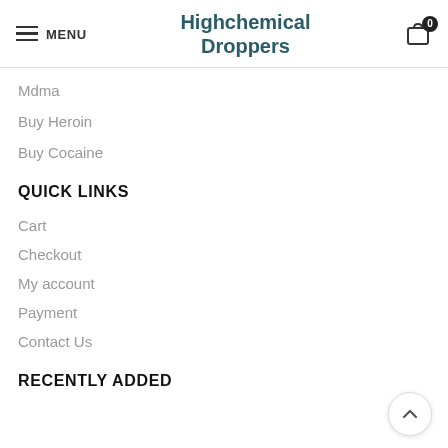MENU | Highchemical Droppers | 0
Mdma
Buy Heroin
Buy Cocaine
QUICK LINKS
Cart
Checkout
My account
Payment
Contact Us
RECENTLY ADDED